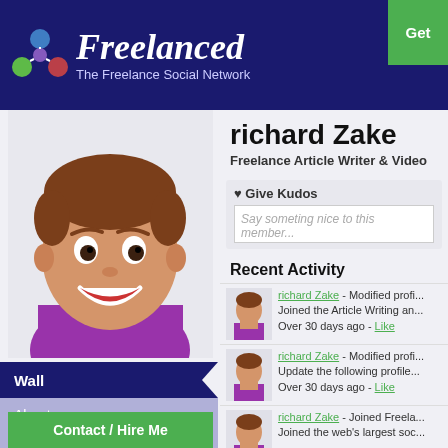[Figure (logo): Freelanced logo with colorful network icon and italic white text 'Freelanced' with subtitle 'The Freelance Social Network' on dark navy background]
[Figure (illustration): Cartoon avatar of a smiling young man with brown hair wearing a purple shirt]
richard Zake
Freelance Article Writer & Video
♥ Give Kudos
Say someting nice to this member...
Recent Activity
richard Zake - Modified profi... Joined the Article Writing an... Over 30 days ago - Like
richard Zake - Modified profi... Update the following profile... Over 30 days ago - Like
richard Zake - Joined Freela... Joined the web's largest soc...
Wall
About
Portfolio (0)
Contact / Hire Me